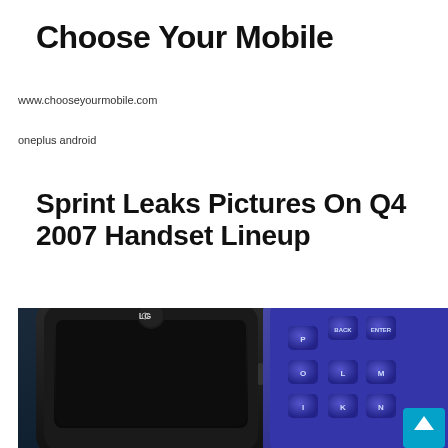Choose Your Mobile
www.chooseyourmobile.com
oneplus android
Sprint Leaks Pictures On Q4 2007 Handset Lineup
[Figure (photo): Photo of two mobile phones: a black LG touchscreen phone on the left and a blue phone with keypad buttons (P, BACK, ENTER, O, L, M, I, K, N visible) on the right, with a small cyan scroll-to-top button overlay in the bottom-right corner.]